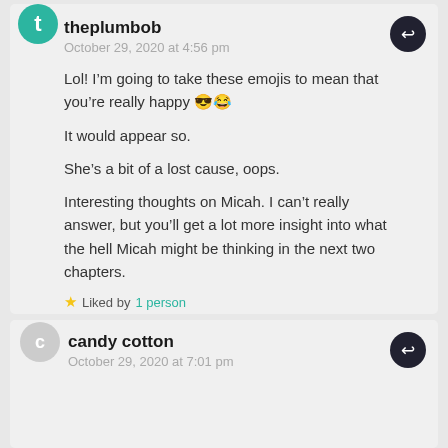theplumbob
October 29, 2020 at 4:56 pm
Lol! I’m going to take these emojis to mean that you’re really happy 😎😂
It would appear so.
She’s a bit of a lost cause, oops.
Interesting thoughts on Micah. I can’t really answer, but you’ll get a lot more insight into what the hell Micah might be thinking in the next two chapters.
Liked by 1 person
candy cotton
October 29, 2020 at 7:01 pm